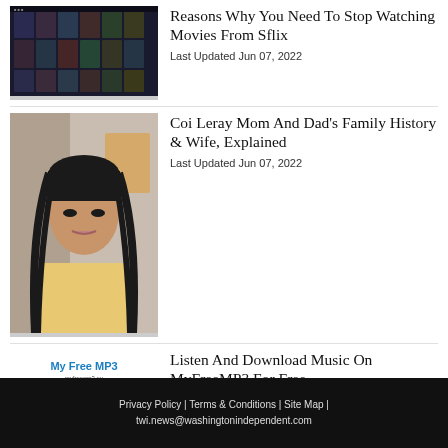[Figure (screenshot): Screenshot of a movie streaming website (Sflix) showing a grid of movie thumbnails on a dark background]
Reasons Why You Need To Stop Watching Movies From Sflix
Last Updated Jun 07, 2022
[Figure (photo): Photo of Coi Leray, a young woman with long braided hair taking a selfie]
Coi Leray Mom And Dad’s Family History & Wife, Explained
Last Updated Jun 07, 2022
[Figure (screenshot): Screenshot of MyFreeMP3 website showing a music download interface with blue header logo and search bar]
Listen And Download Music On MyFreeMP3 For Free
Last Updated Jun 07, 2022
Privacy Policy | Terms & Conditions | Site Map | twi.news@washingtonindependent.com